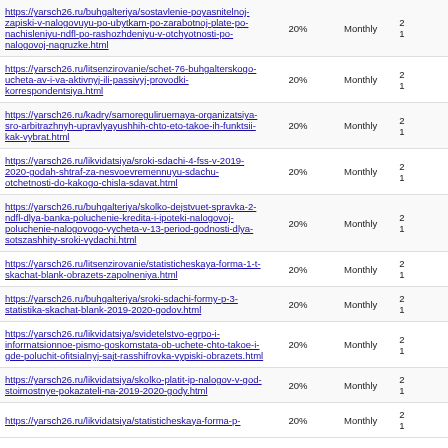| URL | Percentage | Frequency | Date |
| --- | --- | --- | --- |
| https://yarsch26.ru/buhgalteriya/sostavlenie-poyasnitelnoj-zapiski-v-nalogovuyu-po-ubytkam-po-zarabotnoj-plate-po-nachisleniyu-ndfl-po-rashozhdeniyu-v-otchyotnosti-po-nalogovoj-nagruzke.html | 20% | Monthly | 2
1 |
| https://yarsch26.ru/litsenzirovanie/schet-76-buhgalterskogo-ucheta-av-i-va-aktivnyj-ili-passivyj-provodki-korrespondentsiya.html | 20% | Monthly | 2
1 |
| https://yarsch26.ru/kadry/samoreguliruemaya-organizatsiya-sro-arbitrazhnyh-upravlyayushhih-chto-eto-takoe-ih-funktsii-kak-vybrat.html | 20% | Monthly | 2
1 |
| https://yarsch26.ru/likvidatsiya/sroki-sdachi-4-fss-v-2019-2020-godah-shtraf-za-nesvoevremennuyu-sdachu-otchetnosti-do-kakogo-chisla-sdavat.html | 20% | Monthly | 2
1 |
| https://yarsch26.ru/buhgalteriya/skolko-dejstvuet-spravka-2-ndfl-dlya-banka-poluchenie-kredita-i-ipoteki-nalogovoj-poluchenie-nalogovogo-vycheta-v-13-period-godnosti-dlya-sotszashhity-sroki-vydachi.html | 20% | Monthly | 2
1 |
| https://yarsch26.ru/litsenzirovanie/statisticheskaya-forma-1-t-skachat-blank-obrazets-zapolneniya.html | 20% | Monthly | 2
1 |
| https://yarsch26.ru/buhgalteriya/sroki-sdachi-formy-p-3-statistika-skachat-blank-2019-2020-godov.html | 20% | Monthly | 2
1 |
| https://yarsch26.ru/likvidatsiya/svidetelstvo-egrpo-i-informatsionnoe-pismo-goskomstata-ob-uchete-chto-takoe-i-gde-poluchit-ofitsialnyj-sajt-rasshifrovka-vypiski-obrazets.html | 20% | Monthly | 2
1 |
| https://yarsch26.ru/likvidatsiya/skolko-platit-ip-nalogov-v-god-stoimostnye-pokazateli-na-2019-2020-gody.html | 20% | Monthly | 2
1 |
| https://yarsch26.ru/likvidatsiya/statisticheskaya-forma-p-... | 20% | Monthly | 2
1 |